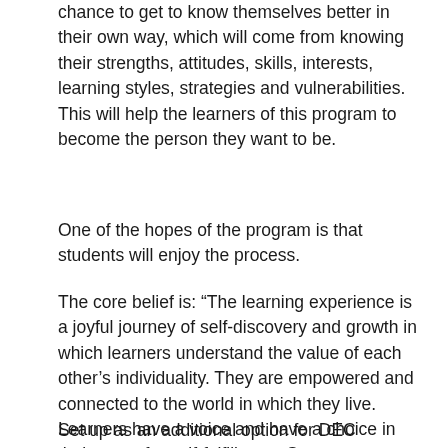chance to get to know themselves better in their own way, which will come from knowing their strengths, attitudes, skills, interests, learning styles, strategies and vulnerabilities. This will help the learners of this program to become the person they want to be.
One of the hopes of the program is that students will enjoy the process.
The core belief is: “The learning experience is a joyful journey of self-discovery and growth in which learners understand the value of each other’s individuality. They are empowered and connected to the world in which they live. Learners have a voice and have a choice in their quest for self-fulfillment. Strong relationships between learners, trusted adults and the community develop confident, capable, empowered and lifelong learners for a socially just world.
Set up as an additional option for DEC students, the program is being developed for the start of the 2021-2022 school year.